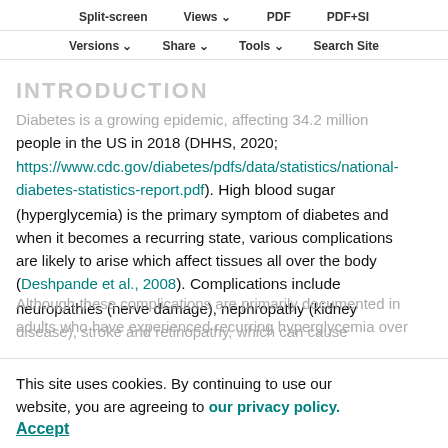Split-screen   Views   PDF   PDF+SI
Versions   Share   Tools   Search Site
INTRODUCTION
Diabetes is a growing epidemic, affecting 34.2 million people in the US in 2018 (DHHS, 2020; https://www.cdc.gov/diabetes/pdfs/data/statistics/national-diabetes-statistics-report.pdf). High blood sugar (hyperglycemia) is the primary symptom of diabetes and when it becomes a recurring state, various complications are likely to arise which affect tissues all over the body (Deshpande et al., 2008). Complications include neuropathies (nerve damage), nephropathy (kidney disease), stroke and retinopathy, which can cause
Although these complications are primarily documented in adults who have experienced recurring hyperglycemia over
This site uses cookies. By continuing to use our website, you are agreeing to our privacy policy. Accept